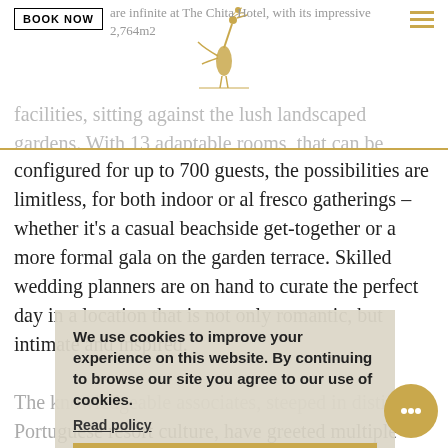BOOK NOW | [logo] | [hamburger menu]
are infinite at The Chita Hotel, with its impressive 2,764m2 facilities, sitting against the lush landscaped gardens. With 13 adaptable rooms, that can be cleverly configured for up to 700 guests, the possibilities are limitless, for both indoor or al fresco gatherings – whether it's a casual beachside get-together or a more formal gala on the garden terrace. Skilled wedding planners are on hand to curate the perfect day in a location that is not only romantic, but intimate and inspired.
The knowledgeable associates, steeped in distinct Portuguese resort culture, have greeted multiple generations of travelers in search of unique and memorable experiences. The Luxury Collection Concierge, as destination authority, is on hand to share the many hidden secrets of the Algarve, from the narrow alleyways of the whitewashed Alto village to the
We use cookies to improve your experience on this website. By continuing to browse our site you agree to our use of cookies.
Read policy
I agree